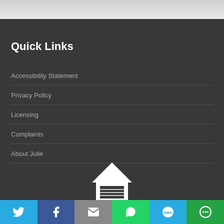Quick Links
Accessibility Statement
Privacy Policy
Licensing
Complaints
About Julie
[Figure (illustration): White house/building icon with garage door]
[Figure (infographic): Social sharing bar with Twitter, Facebook, Email, WhatsApp, SMS, and Share buttons]